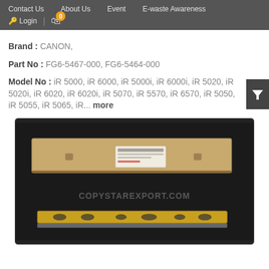Contact Us  About Us  Event  E-waste Awareness  Login  0
Brand : CANON,
Part No : FG6-5467-000, FG6-5464-000
Model No : iR 5000, iR 6000, iR 5000i, iR 6000i, iR 5020, iR 5020i, iR 6020, iR 6020i, iR 5070, iR 5570, iR 6570, iR 5050, iR 5055, iR 5065, iR... more
[Figure (photo): Product photo showing a long rectangular cardboard box with a label/barcode sticker, and below it a yellow/gold colored long strip component (likely a cleaning blade or similar printer part), both on a dark background. Watermark text COPYSTAREXPORT.COM visible.]